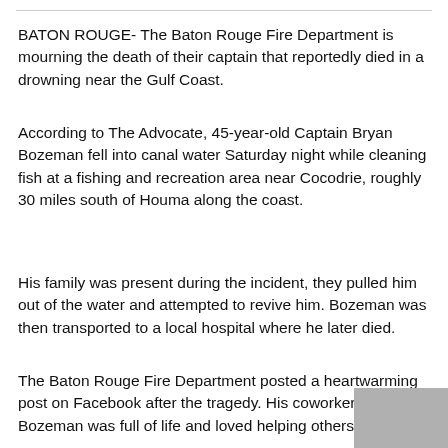BATON ROUGE- The Baton Rouge Fire Department is mourning the death of their captain that reportedly died in a drowning near the Gulf Coast.
According to The Advocate, 45-year-old Captain Bryan Bozeman fell into canal water Saturday night while cleaning fish at a fishing and recreation area near Cocodrie, roughly 30 miles south of Houma along the coast.
His family was present during the incident, they pulled him out of the water and attempted to revive him. Bozeman was then transported to a local hospital where he later died.
The Baton Rouge Fire Department posted a heartwarming post on Facebook after the tragedy. His coworkers said Bozeman was full of life and loved helping others.